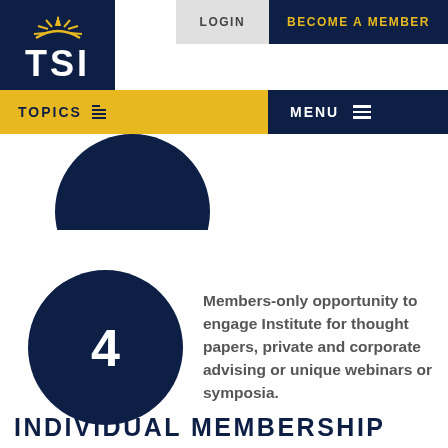[Figure (logo): TSI logo with sun rays above letters TSI on dark navy background]
LOGIN  BECOME A MEMBER
TOPICS  MENU
Members-only opportunity to engage Institute for thought papers, private and corporate advising or unique webinars or symposia.
INDIVIDUAL MEMBERSHIP